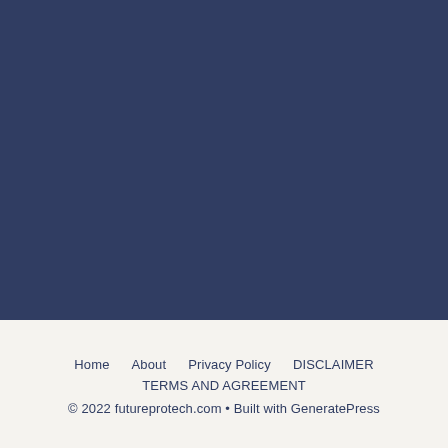[Figure (other): Large dark navy/slate blue rectangular background section filling the upper portion of the page]
Home   About   Privacy Policy   DISCLAIMER   TERMS AND AGREEMENT   © 2022 futureprotech.com • Built with GeneratePress